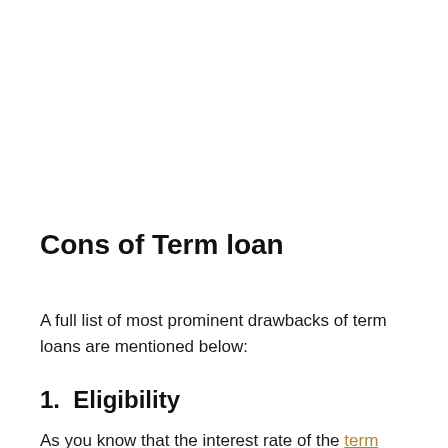Cons of Term loan
A full list of most prominent drawbacks of term loans are mentioned below:
1.  Eligibility
As you know that the interest rate of the term loan is very